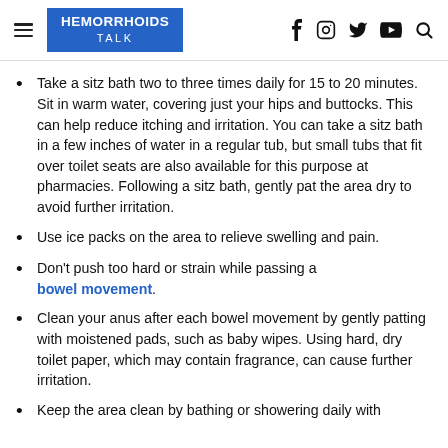HEMORRHOIDS TALK
Take a sitz bath two to three times daily for 15 to 20 minutes. Sit in warm water, covering just your hips and buttocks. This can help reduce itching and irritation. You can take a sitz bath in a few inches of water in a regular tub, but small tubs that fit over toilet seats are also available for this purpose at pharmacies. Following a sitz bath, gently pat the area dry to avoid further irritation.
Use ice packs on the area to relieve swelling and pain.
Don't push too hard or strain while passing a bowel movement.
Clean your anus after each bowel movement by gently patting with moistened pads, such as baby wipes. Using hard, dry toilet paper, which may contain fragrance, can cause further irritation.
Keep the area clean by bathing or showering daily with